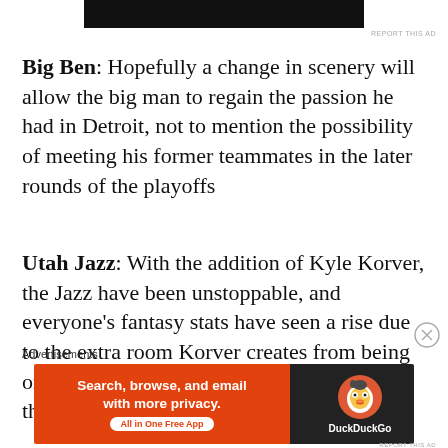[Figure (other): Black advertisement banner at top of page]
Big Ben: Hopefully a change in scenery will allow the big man to regain the passion he had in Detroit, not to mention the possibility of meeting his former teammates in the later rounds of the playoffs
Utah Jazz: With the addition of Kyle Korver, the Jazz have been unstoppable, and everyone's fantasy stats have seen a rise due to the extra room Korver creates from being one of the most dangerous long-distance threats in the league
Advertisements
[Figure (other): DuckDuckGo advertisement banner: 'Search, browse, and email with more privacy. All in One Free App' with DuckDuckGo logo on dark background]